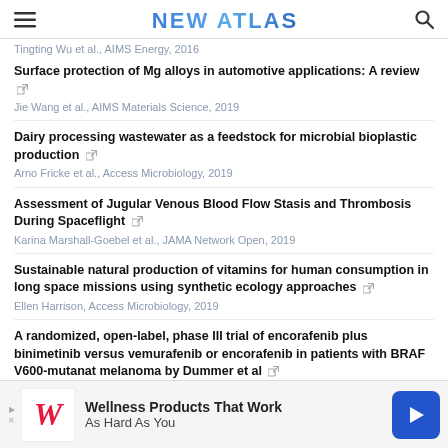NEW ATLAS
Tingting Wu et al., AIMS Energy, 2016
Surface protection of Mg alloys in automotive applications: A review
Jie Wang et al., AIMS Materials Science, 2019
Dairy processing wastewater as a feedstock for microbial bioplastic production
Arno Fricke et al., Access Microbiology, 2019
Assessment of Jugular Venous Blood Flow Stasis and Thrombosis During Spaceflight
Karina Marshall-Goebel et al., JAMA Network Open, 2019
Sustainable natural production of vitamins for human consumption in long space missions using synthetic ecology approaches
Ellen Harrison, Access Microbiology, 2019
A randomized, open-label, phase III trial of encorafenib plus binimetinib versus vemurafenib or encorafenib in patients with BRAF V600-mutanat melanoma by Dummer et al
Brought
[Figure (other): Walgreens advertisement banner: Wellness Products That Work As Hard As You]